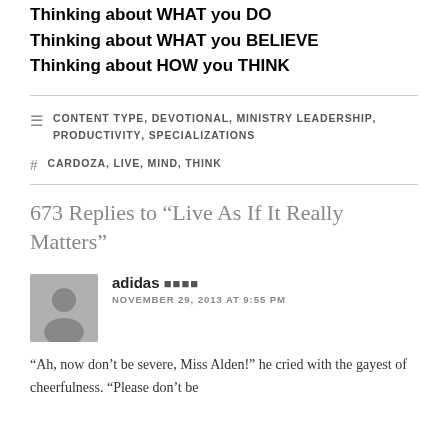Thinking about WHAT you DO
Thinking about WHAT you BELIEVE
Thinking about HOW you THINK
CONTENT TYPE, DEVOTIONAL, MINISTRY LEADERSHIP, PRODUCTIVITY, SPECIALIZATIONS
CARDOZA, LIVE, MIND, THINK
673 Replies to “Live As If It Really Matters”
adidas ■■■■
NOVEMBER 29, 2013 AT 9:55 PM
“Ah, now don’t be severe, Miss Alden!” he cried with the gayest of cheerfulness. “Please don’t be